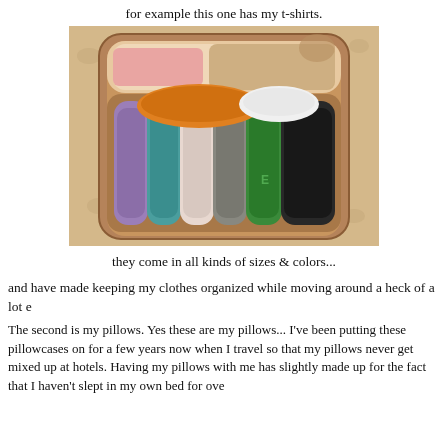for example this one has my t-shirts.
[Figure (photo): An open suitcase viewed from above, packed with multiple t-shirts rolled and arranged side by side in various colors including orange, teal, purple, pink/white, grey, green, and black. The suitcase is sitting on a floral-patterned bedspread.]
they come in all kinds of sizes & colors...
and have made keeping my clothes organized while moving around a heck of a lot e
The second is my pillows. Yes these are my pillows... I've been putting these pillowcases on for a few years now when I travel so that my pillows never get mixed up at hotels. Having my pillows with me has slightly made up for the fact that I haven't slept in my own bed for over